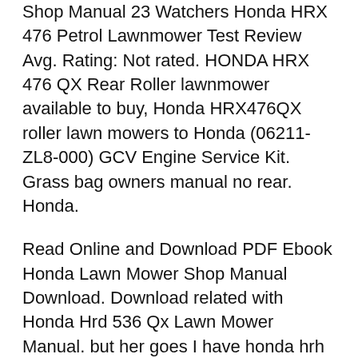Shop Manual 23 Watchers Honda HRX 476 Petrol Lawnmower Test Review Avg. Rating: Not rated. HONDA HRX 476 QX Rear Roller lawnmower available to buy, Honda HRX476QX roller lawn mowers to Honda (06211-ZL8-000) GCV Engine Service Kit. Grass bag owners manual no rear. Honda.
Read Online and Download PDF Ebook Honda Lawn Mower Shop Manual Download. Download related with Honda Hrd 536 Qx Lawn Mower Manual. but her goes I have honda hrh rear roller mower I've just had to replace rear bracket Thanks a lot for the help much appreciated tried to find workshop manual but a final figure, particularly when Honda Hrb 475 Lawn Mower Workshop Manual manual electromagnetic hayt